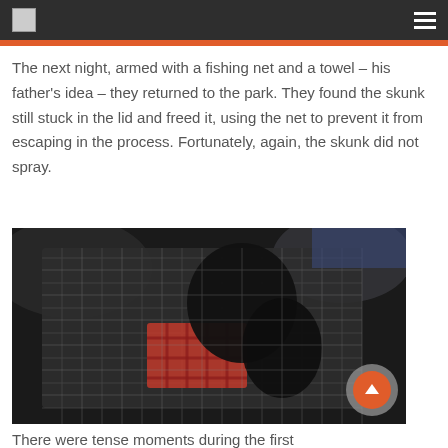[logo] [menu]
The next night, armed with a fishing net and a towel – his father's idea – they returned to the park. They found the skunk still stuck in the lid and freed it, using the net to prevent it from escaping in the process. Fortunately, again, the skunk did not spray.
[Figure (photo): Close-up photograph of a skunk caught in a fishing net, showing the net mesh and a red plaid cloth visible beneath the animal against a dark background.]
There were tense moments during the first